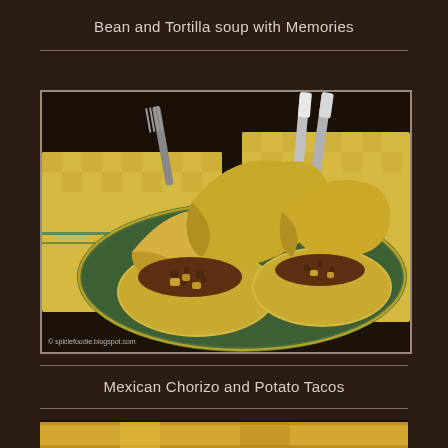Bean and Tortilla soup with Memories
[Figure (photo): Photo of Mexican chorizo and potato tacos on a green plate with yellow checkered cloth napkin, fork and knife visible, watermark: © spiciefoodie.blogspot.com]
Mexican Chorizo and Potato Tacos